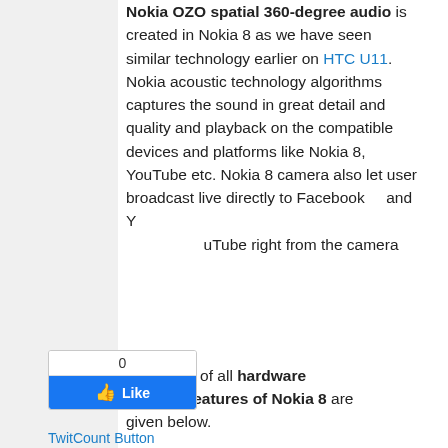Nokia OZO spatial 360-degree audio is created in Nokia 8 as we have seen similar technology earlier on HTC U11. Nokia acoustic technology algorithms captures the sound in great detail and quality and playback on the compatible devices and platforms like Nokia 8, YouTube etc. Nokia 8 camera also let user broadcast live directly to Facebook and YouTube right from the camera
[Figure (screenshot): Facebook Like button widget showing count of 0 and a blue Like button with thumbs up icon]
TwitCount Button
[Figure (screenshot): LinkedIn Share button with blue background and white text]
complete list of all hardware and features of Nokia 8 are given below.